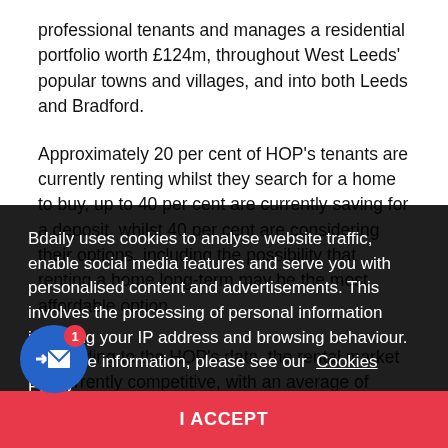professional tenants and manages a residential portfolio worth £124m, throughout West Leeds' popular towns and villages, and into both Leeds and Bradford.
Approximately 20 per cent of HOP's tenants are currently renting whilst they search for a home to buy, up to 40 per cent are currently saving for a deposit, whilst 40 per cent are considering their options, including the possibility that renting a home long-term may be the most affordable option.
According to the HOP's data, the rental market is currently competitive, with an average of many properties receiving multiple applications daily, and, in some cases, the number of enquiries surging in demand.
HOP's Bradford Road premises is now benefiting from a "major refurbishment" programme to accommodate more visitors.
[Figure (screenshot): Cookie consent overlay with dark background reading: 'Bdaily uses cookies to analyse website traffic, enable social media features and serve you with personalised content and advertisements. This involves the processing of personal information including your IP address and browsing behaviour. For more information, please see our Cookies Policy'. Red accept bar at the bottom saying 'I ACCEPT'. Blue circular email button with red badge showing '1' in bottom left.]